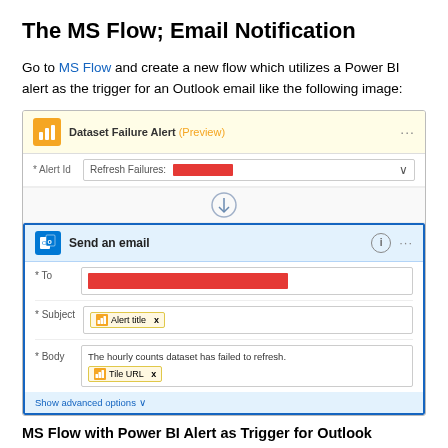The MS Flow; Email Notification
Go to MS Flow and create a new flow which utilizes a Power BI alert as the trigger for an Outlook email like the following image:
[Figure (screenshot): Screenshot of Microsoft Flow (Power Automate) workflow showing two steps: 1) Dataset Failure Alert (Preview) trigger block with Alert Id field showing 'Refresh Failures:' and a red redacted bar, connected by an arrow to 2) Send an email action block with To field (red redacted), Subject field with 'Alert title x' tag, and Body field containing 'The hourly counts dataset has failed to refresh.' plus 'Tile URL x' tag, and a 'Show advanced options' link at the bottom.]
MS Flow with Power BI Alert as Trigger for Outlook